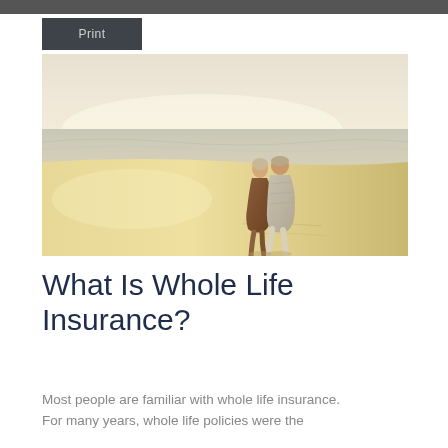Print
[Figure (photo): An elderly couple walking together on a beach, viewed from behind, with ocean waves and sandy shore in the background. The woman wears a brown wrap and the man wears a light plaid shirt.]
What Is Whole Life Insurance?
Most people are familiar with whole life insurance. For many years, whole life policies were the